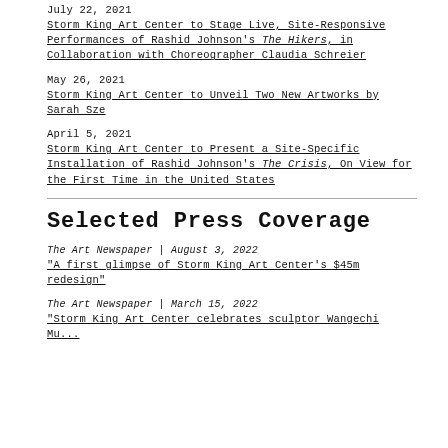July 22, 2021
Storm King Art Center to Stage Live, Site-Responsive Performances of Rashid Johnson's The Hikers, in Collaboration with Choreographer Claudia Schreier
May 26, 2021
Storm King Art Center to Unveil Two New Artworks by Sarah Sze
April 5, 2021
Storm King Art Center to Present a Site-Specific Installation of Rashid Johnson's The Crisis, On View for the First Time in the United States
Selected Press Coverage
The Art Newspaper | August 3, 2022
“A first glimpse of Storm King Art Center’s $45m redesign”
The Art Newspaper | March 15, 2022
“Storm King Art Center celebrates sculptor Wangechi Mutu’s 2022 commission”